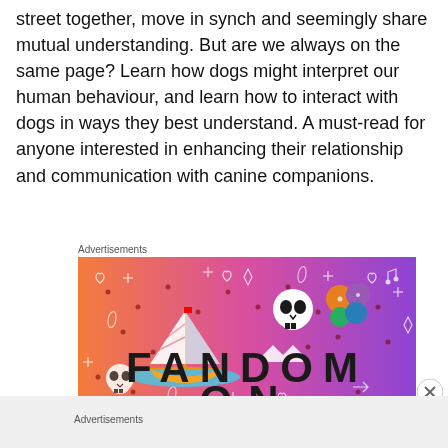street together, move in synch and seemingly share mutual understanding. But are we always on the same page? Learn how dogs might interpret our human behaviour, and learn how to interact with dogs in ways they best understand. A must-read for anyone interested in enhancing their relationship and communication with canine companions.
Advertisements
[Figure (illustration): Fandom advertisement banner with orange-to-purple gradient background, showing a sailboat sticker, skull, dice, and decorative icons with the text FANDOM ON in large bold letters]
Advertisements